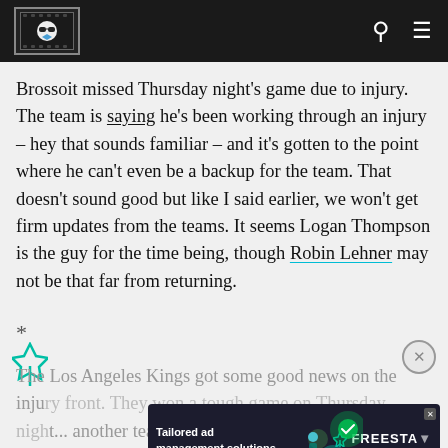[Site logo] [Search] [Menu]
Brossoit missed Thursday night's game due to injury. The team is saying he's been working through an injury – hey that sounds familiar – and it's gotten to the point where he can't even be a backup for the team. That doesn't sound good but like I said earlier, we won't get firm updates from the teams. It seems Logan Thompson is the guy for the time being, though Robin Lehner may not be that far from returning.
*
The Los Angeles Kings got some good news on the injury front. They won a tough game on Thursday night... another team that has just been brutalized by injuries, though there have basically been...